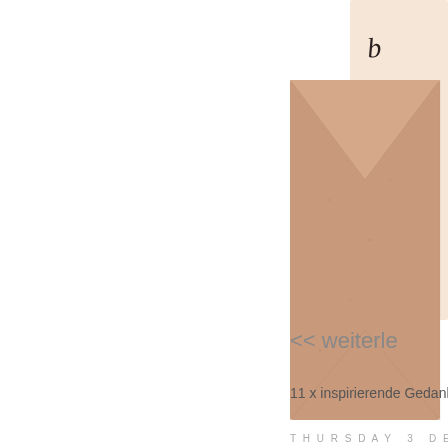[Figure (photo): A kraft paper envelope partially open, with handwritten cursive script visible on a card or letter inside/behind, photographed against a white background. The image is cropped and appears in the upper-right portion of the page.]
<< weiterle
11 x inspirierende Gedanken
THURSDAY  3  DE